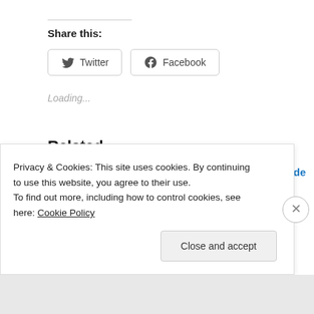Share this:
Twitter  Facebook
Loading...
Related
Exploring the Past Turns 5
Can a Distinction Be Made Between
Privacy & Cookies: This site uses cookies. By continuing to use this website, you agree to their use.
To find out more, including how to control cookies, see here: Cookie Policy
Close and accept